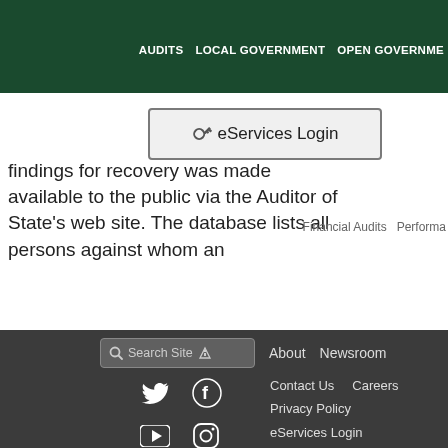AUDITS   LOCAL GOVERNMENT   OPEN GOVERNMENT
eServices Login
findings for recovery was made available to the public via the Auditor of State’s web site. The database lists all persons against whom an
Financial Audits   Performa
Search Site   About   Newsroom   Contact Us   Careers   Privacy Policy   eServices Login   Site Map